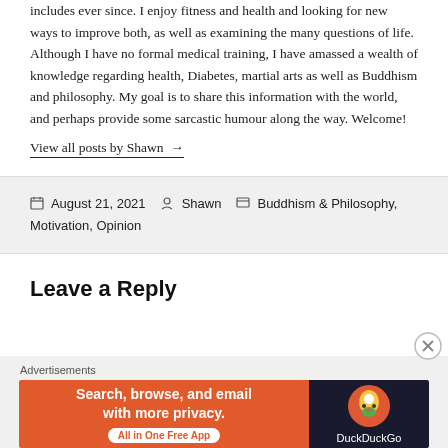includes ever since. I enjoy fitness and health and looking for new ways to improve both, as well as examining the many questions of life. Although I have no formal medical training, I have amassed a wealth of knowledge regarding health, Diabetes, martial arts as well as Buddhism and philosophy. My goal is to share this information with the world, and perhaps provide some sarcastic humour along the way. Welcome!
View all posts by Shawn →
August 21, 2021   Shawn   Buddhism & Philosophy, Motivation, Opinion
Leave a Reply
Advertisements
[Figure (screenshot): DuckDuckGo advertisement banner: orange left panel with text 'Search, browse, and email with more privacy. All in One Free App' and dark right panel with DuckDuckGo duck logo and brand name.]